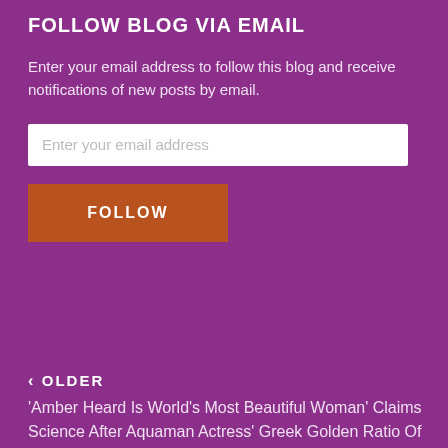FOLLOW BLOG VIA EMAIL
Enter your email address to follow this blog and receive notifications of new posts by email.
Enter your email address
FOLLOW
‹ OLDER
'Amber Heard Is World's Most Beautiful Woman' Claims Science After Aquaman Actress' Greek Golden Ratio Of Beauty Phi Score Turns Out Almost Perfect!